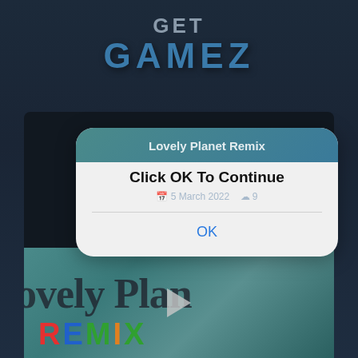[Figure (screenshot): GET GAMEZ logo with 'GET' in gray and 'GAMEZ' in blue bold letters on dark background]
[Figure (screenshot): Dialog box overlay on a game app screenshot showing 'Lovely Planet Remix' game page with 'Click OK To Continue' dialog and an OK button. Background shows video thumbnail of Lovely Planet Remix game.]